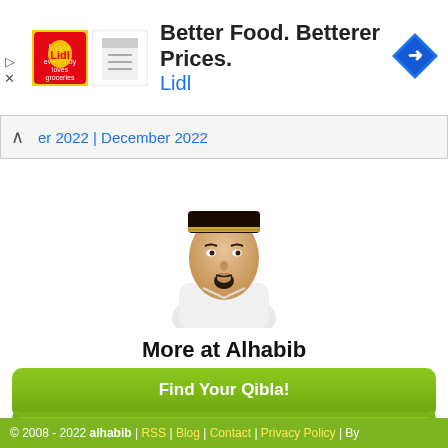[Figure (infographic): Advertisement banner for Lidl showing logo images and navigation icon with text 'Better Food. Betterer Prices.' and 'Lidl' in blue]
er 2022 | December 2022
[Figure (photo): Photo of a man wearing a traditional Islamic black cap (peci) and white clothing, with a goatee beard]
More at Alhabib
Find Your Qibla!
Islamic Greeting Cards
Prayer Time Widgets
© 2008 - 2022 alhabib | RSS | Blog | Contact | Privacy Policy | By